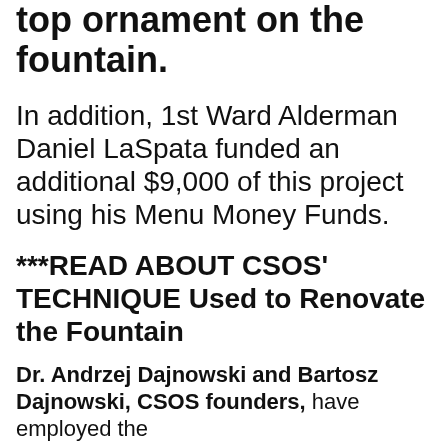top ornament on the fountain.
In addition, 1st Ward Alderman Daniel LaSpata funded an additional $9,000 of this project using his Menu Money Funds.
***READ ABOUT CSOS' TECHNIQUE Used to Renovate the Fountain
Dr. Andrzej Dajnowski and Bartosz Dajnowski, CSOS founders, have employed the